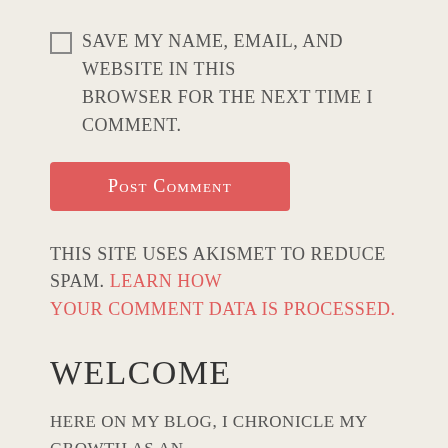Save my name, email, and website in this browser for the next time I comment.
Post Comment
This site uses Akismet to reduce spam. Learn how your comment data is processed.
Welcome
Here on my blog, I chronicle my growth as an artist, post helpful insights for painters,